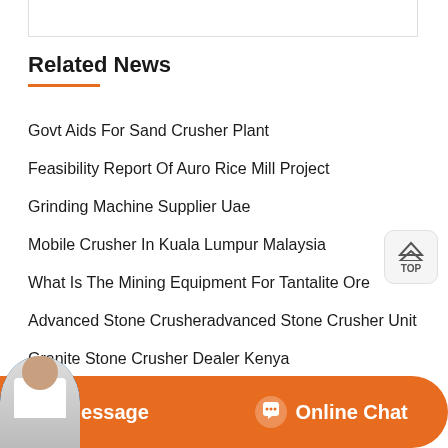Related News
Govt Aids For Sand Crusher Plant
Feasibility Report Of Auro Rice Mill Project
Grinding Machine Supplier Uae
Mobile Crusher In Kuala Lumpur Malaysia
What Is The Mining Equipment For Tantalite Ore
Advanced Stone Crusheradvanced Stone Crusher Unit
Granite Stone Crusher Dealer Kenya
Gold Ore Sand Making Line Machine
Message  Online Chat